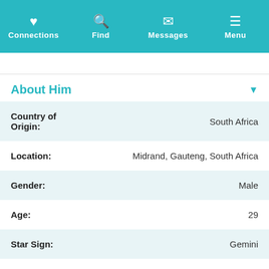Connections | Find | Messages | Menu
About Him
| Field | Value |
| --- | --- |
| Country of Origin: | South Africa |
| Location: | Midrand, Gauteng, South Africa |
| Gender: | Male |
| Age: | 29 |
| Star Sign: | Gemini |
| Height: | Ask me later |